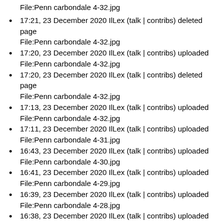File:Penn carbondale 4-32.jpg
17:21, 23 December 2020 IlLex (talk | contribs) deleted page File:Penn carbondale 4-32.jpg
17:20, 23 December 2020 IlLex (talk | contribs) uploaded File:Penn carbondale 4-32.jpg
17:20, 23 December 2020 IlLex (talk | contribs) deleted page File:Penn carbondale 4-32.jpg
17:13, 23 December 2020 IlLex (talk | contribs) uploaded File:Penn carbondale 4-32.jpg
17:11, 23 December 2020 IlLex (talk | contribs) uploaded File:Penn carbondale 4-31.jpg
16:43, 23 December 2020 IlLex (talk | contribs) uploaded File:Penn carbondale 4-30.jpg
16:41, 23 December 2020 IlLex (talk | contribs) uploaded File:Penn carbondale 4-29.jpg
16:39, 23 December 2020 IlLex (talk | contribs) uploaded File:Penn carbondale 4-28.jpg
16:38, 23 December 2020 IlLex (talk | contribs) uploaded File:Penn carbondale 4-27.jpg
16:36, 23 December 2020 IlLex (talk | contribs) uploaded